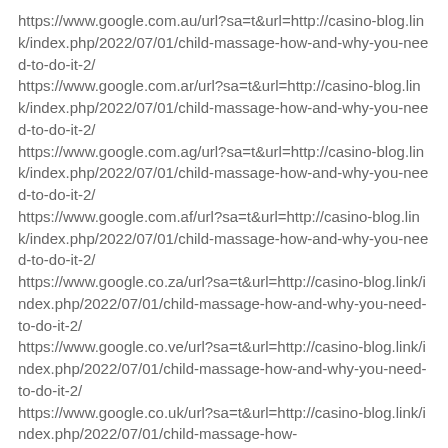https://www.google.com.au/url?sa=t&url=http://casino-blog.link/index.php/2022/07/01/child-massage-how-and-why-you-need-to-do-it-2/
https://www.google.com.ar/url?sa=t&url=http://casino-blog.link/index.php/2022/07/01/child-massage-how-and-why-you-need-to-do-it-2/
https://www.google.com.ag/url?sa=t&url=http://casino-blog.link/index.php/2022/07/01/child-massage-how-and-why-you-need-to-do-it-2/
https://www.google.com.af/url?sa=t&url=http://casino-blog.link/index.php/2022/07/01/child-massage-how-and-why-you-need-to-do-it-2/
https://www.google.co.za/url?sa=t&url=http://casino-blog.link/index.php/2022/07/01/child-massage-how-and-why-you-need-to-do-it-2/
https://www.google.co.ve/url?sa=t&url=http://casino-blog.link/index.php/2022/07/01/child-massage-how-and-why-you-need-to-do-it-2/
https://www.google.co.uk/url?sa=t&url=http://casino-blog.link/index.php/2022/07/01/child-massage-how-